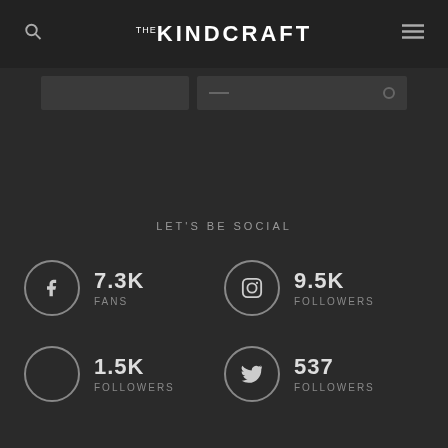THE KINDCRAFT
[Figure (screenshot): Partial UI bar with two dark rectangles, one with dots/line icons]
LET'S BE SOCIAL
7.3K FANS (Facebook)
9.5K FOLLOWERS (Instagram)
1.5K FOLLOWERS (Pinterest/circle)
537 FOLLOWERS (Twitter)